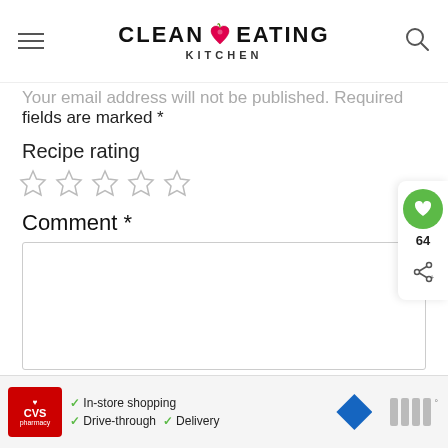Clean Eating Kitchen
Your email address will not be published. Required fields are marked *
Recipe rating
[Figure (illustration): Five empty star rating icons]
Comment *
[Figure (screenshot): Empty comment text area input box]
[Figure (infographic): Floating action buttons: green heart/favorite button with count 64, and share button]
[Figure (infographic): CVS Pharmacy advertisement banner showing In-store shopping, Drive-through, and Delivery options]